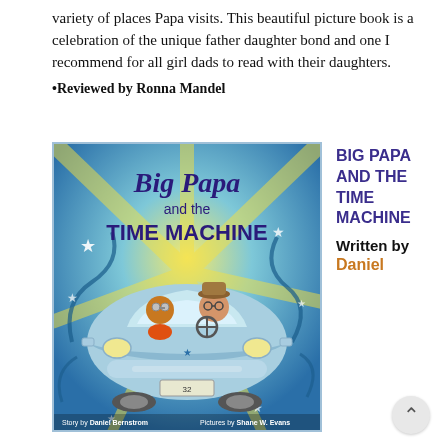variety of places Papa visits. This beautiful picture book is a celebration of the unique father daughter bond and one I recommend for all girl dads to read with their daughters.
•Reviewed by Ronna Mandel
[Figure (illustration): Book cover of 'Big Papa and the Time Machine' showing two characters (a child and an older man wearing a hat) riding in a light blue vintage car. The background features swirling blue and teal colors with stars. Text on cover reads 'Big Papa and the TIME MACHINE', 'Story by Daniel Bernstrom', 'Pictures by Shane W. Evans'.]
BIG PAPA AND THE TIME MACHINE
Written by
Daniel